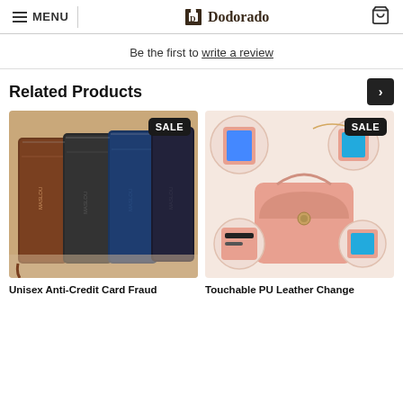MENU | Dodorado
Be the first to write a review
Related Products
[Figure (photo): Four leather wallets in brown, black, blue, and dark colors standing upright with a SALE badge in top right]
[Figure (photo): Pink PU leather crossbody phone bag shown from multiple angles with features highlighted, SALE badge in top right]
Unisex Anti-Credit Card Fraud
Touchable PU Leather Change